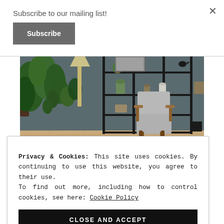Subscribe to our mailing list!
Subscribe
[Figure (photo): Interior room photo showing a grey armchair, green plants, and dark metal shelving unit with various decorative items on a wooden floor]
Privacy & Cookies: This site uses cookies. By continuing to use this website, you agree to their use.
To find out more, including how to control cookies, see here: Cookie Policy
CLOSE AND ACCEPT